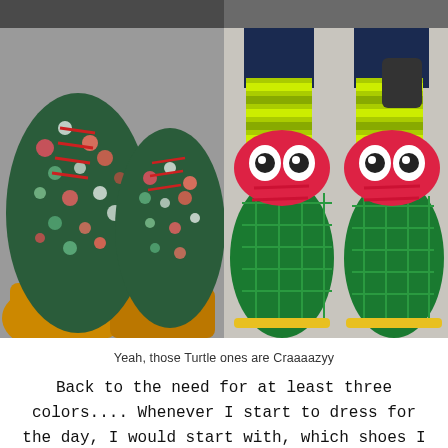[Figure (photo): Top strip showing partial images of colorful shoes at the top of the page]
[Figure (photo): Left photo: floral print Dr. Martens boots with red laces, worn with orange/mustard socks, seen from above on a grey floor]
[Figure (photo): Right photo: Teenage Mutant Ninja Turtles themed Dr. Martens shoes - green with pink/red cartoon turtle face decorations and yellow-green striped socks]
Yeah, those Turtle ones are Craaaazyy
Back to the need for at least three colors.... Whenever I start to dress for the day, I would start with, which shoes I would like to wear that day and then I work